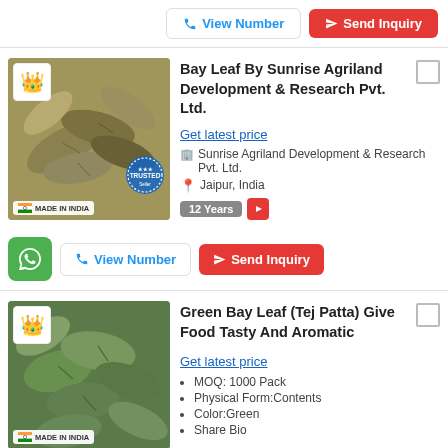[Figure (screenshot): Top bar with View Number and Send Inquiry buttons]
[Figure (photo): Bay leaf product photo with Made in India and Trusted badge]
Bay Leaf By Sunrise Agriland Development & Research Pvt. Ltd.
Get latest price
Sunrise Agriland Development & Research Pvt. Ltd.
Jaipur, India
12 Years
[Figure (screenshot): WhatsApp, View Number and Send Inquiry buttons]
[Figure (photo): Green Bay Leaf (Tej Patta) product photo with Made in India badge]
Green Bay Leaf (Tej Patta) Give Food Tasty And Aromatic
Get latest price
MOQ: 1000 Pack
Physical Form:Contents
Color:Green